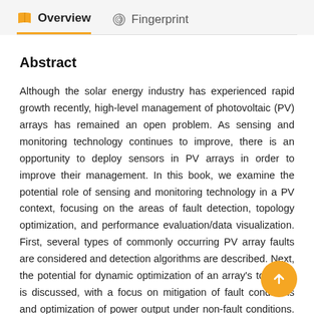Overview   Fingerprint
Abstract
Although the solar energy industry has experienced rapid growth recently, high-level management of photovoltaic (PV) arrays has remained an open problem. As sensing and monitoring technology continues to improve, there is an opportunity to deploy sensors in PV arrays in order to improve their management. In this book, we examine the potential role of sensing and monitoring technology in a PV context, focusing on the areas of fault detection, topology optimization, and performance evaluation/data visualization. First, several types of commonly occurring PV array faults are considered and detection algorithms are described. Next, the potential for dynamic optimization of an array's topology is discussed, with a focus on mitigation of fault conditions and optimization of power output under non-fault conditions. Finally, monitoring